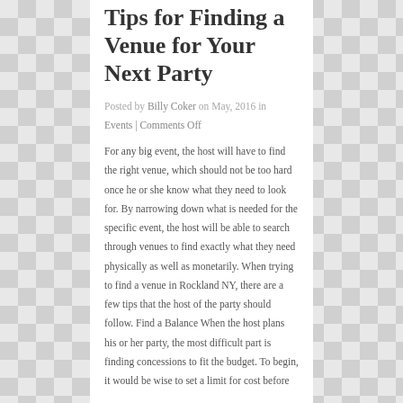Tips for Finding a Venue for Your Next Party
Posted by Billy Coker on May, 2016 in
Events | Comments Off
For any big event, the host will have to find the right venue, which should not be too hard once he or she know what they need to look for. By narrowing down what is needed for the specific event, the host will be able to search through venues to find exactly what they need physically as well as monetarily. When trying to find a venue in Rockland NY, there are a few tips that the host of the party should follow. Find a Balance When the host plans his or her party, the most difficult part is finding concessions to fit the budget. To begin, it would be wise to set a limit for cost before